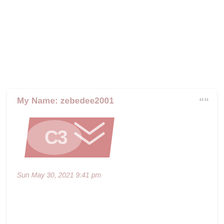My Name: zebedee2001
[Figure (logo): Citroën C3 car logo badge — a pink/red parallelogram-shaped badge showing 'C3' text and the Citroën double chevron logo in silver on a dusty rose/pink background]
Sun May 30, 2021 9:41 pm